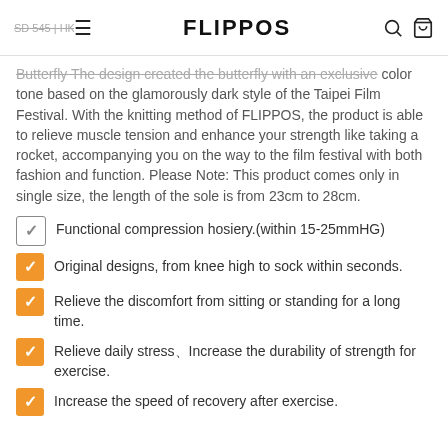FLIPPOS
Butterfly The design created the butterfly with an exclusive color tone based on the glamorously dark style of the Taipei Film Festival. With the knitting method of FLIPPOS, the product is able to relieve muscle tension and enhance your strength like taking a rocket, accompanying you on the way to the film festival with both fashion and function. Please Note: This product comes only in single size, the length of the sole is from 23cm to 28cm.
Functional compression hosiery.(within 15-25mmHG)
Original designs, from knee high to sock within seconds.
Relieve the discomfort from sitting or standing for a long time.
Relieve daily stress、Increase the durability of strength for exercise.
Increase the speed of recovery after exercise.